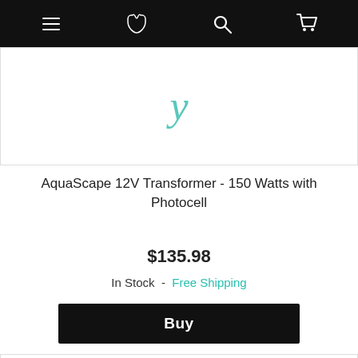Navigation bar with menu, phone, search, and cart icons
[Figure (photo): Partial product image of AquaScape 12V Transformer - 150 Watts with Photocell, showing top portion cropped]
AquaScape 12V Transformer - 150 Watts with Photocell
$135.98
In Stock - Free Shipping
Buy
[Figure (photo): Partial product image of another item, showing a black plumbing fitting or connector]